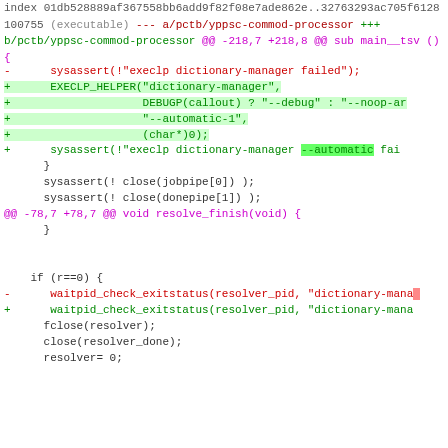diff hunk showing code changes with deleted and added lines for EXECLP_HELPER and sysassert dictionary-manager, followed by resolve_finish hunk, then diff --git header for yppsc-commod-processor
@@ -78,7 +78,7 @@ void resolve_finish(void) {
diff --git a/pctb/yppsc-commod-processor b/pctb/yppsc-commod-processor
index 01db528889af367558bb6add9f82f08e7ade862e..32763293ac705f6128
100755 (executable)
--- a/pctb/yppsc-commod-processor
+++ b/pctb/yppsc-commod-processor
@@ -218,7 +218,8 @@ sub main__tsv () {